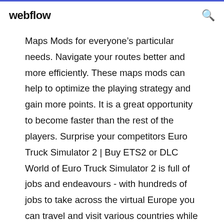webflow
Maps Mods for everyone’s particular needs. Navigate your routes better and more efficiently. These maps mods can help to optimize the playing strategy and gain more points. It is a great opportunity to become faster than the rest of the players. Surprise your competitors Euro Truck Simulator 2 | Buy ETS2 or DLC World of Euro Truck Simulator 2 is full of jobs and endeavours - with hundreds of jobs to take across the virtual Europe you can travel and visit various countries while on the missions or simply cruise across the thousands of kilometers of highways in-game simply sightseeing and enjoying the detailed scenery - any city or location you visit will assemble the